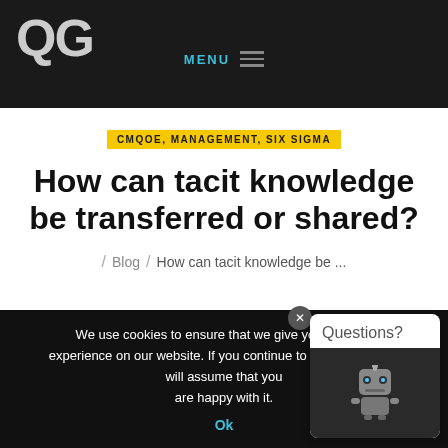QG — MENU
CMQOE, MANAGEMENT, SIX SIGMA
How can tacit knowledge be transferred or shared?
/ Blog / How can tacit knowledge be ...
We use cookies to ensure that we give you the best experience on our website. If you continue to use this site we will assume that you are happy with it.
Ok
[Figure (illustration): Chatbot widget with 'Questions?' header and robot icon]